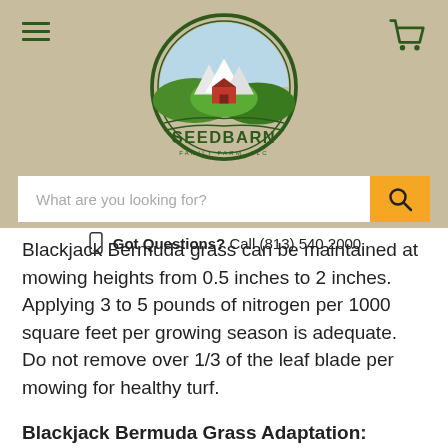[Figure (logo): Seed Barn Family Farm LLC circular logo with green text and farm illustration]
What are you looking for?
Got Questions? Call (813) 540 2000
Blackjack Bermuda grass can be maintained at mowing heights from 0.5 inches to 2 inches. Applying 3 to 5 pounds of nitrogen per 1000 square feet per growing season is adequate. Do not remove over 1/3 of the leaf blade per mowing for healthy turf.
Blackjack Bermuda Grass Adaptation: Across the Southern 1/3 of the U.S. Including Southern California, Arizona, New Mexico, Texas, Louisiana, Arkansas, Oklahoma, Alabama, Mississippi, Georgia, Florida, South Carolina, North Carolina, Virginia, Kentucky, Tennessee, and Hawaii.